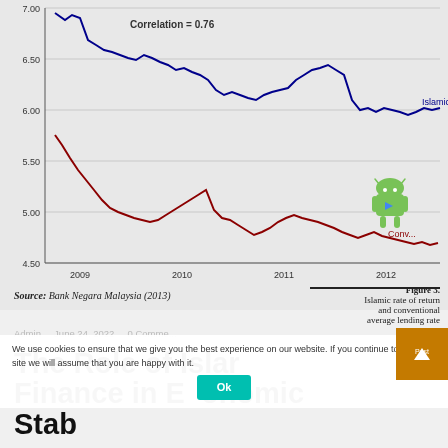[Figure (line-chart): Line chart showing Islamic rate of return and conventional average lending rate from 2009 to 2012. Correlation = 0.76. Islamic line starts ~6.95 and trends down to ~6.0 by 2012. Conventional line starts ~5.75 and trends down to ~4.7 by 2012.]
Source: Bank Negara Malaysia (2013)
Figure 3. Islamic rate of return and conventional average lending rate
Admin   June 24, 2022   0 Comments
The Role of Islamic Finance in Economic Stability and Social